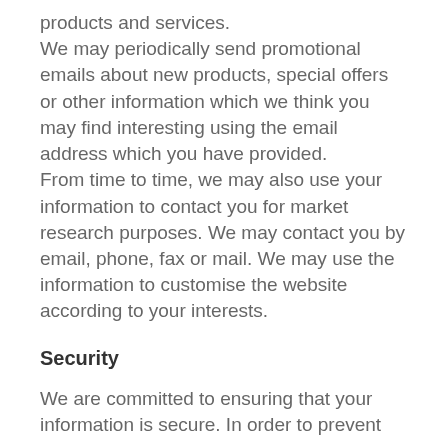products and services. We may periodically send promotional emails about new products, special offers or other information which we think you may find interesting using the email address which you have provided. From time to time, we may also use your information to contact you for market research purposes. We may contact you by email, phone, fax or mail. We may use the information to customise the website according to your interests.
Security
We are committed to ensuring that your information is secure. In order to prevent